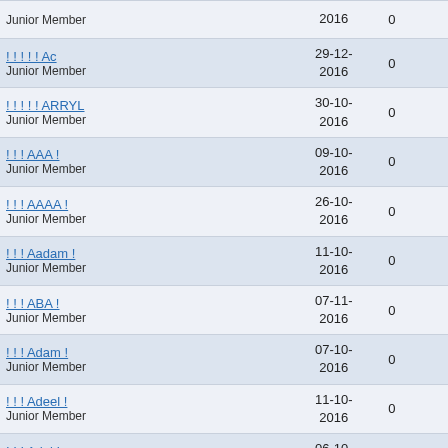| Username |  |  | Join Date | Posts |  |
| --- | --- | --- | --- | --- | --- |
| Junior Member |  |  | 2016 | 0 |  |
| ! ! ! ! ! Ac
Junior Member |  |  | 29-12-2016 | 0 |  |
| ! ! ! ! ! ARRYL
Junior Member |  |  | 30-10-2016 | 0 |  |
| ! ! ! AAA !
Junior Member |  |  | 09-10-2016 | 0 |  |
| ! ! ! AAAA !
Junior Member |  |  | 26-10-2016 | 0 |  |
| ! ! ! Aadam !
Junior Member |  |  | 11-10-2016 | 0 |  |
| ! ! ! ABA !
Junior Member |  |  | 07-11-2016 | 0 |  |
| ! ! ! Adam !
Junior Member |  |  | 07-10-2016 | 0 |  |
| ! ! ! Adeel !
Junior Member |  |  | 11-10-2016 | 0 |  |
| ! ! ! Adel !
Junior Member |  |  | 06-10-2016 | 0 |  |
| ! ! achris
Junior Member |  |  | 28-06-2012 | 0 |  |